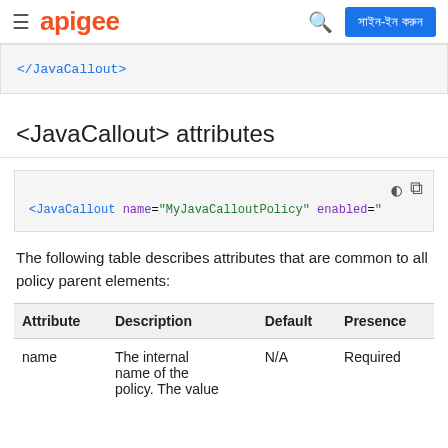apigee | সাইন-ইন করুন
[Figure (screenshot): Code snippet showing </JavaCallout> closing tag cut off at top]
<JavaCallout> attributes
[Figure (screenshot): Code block: <JavaCallout name="MyJavaCalloutPolicy" enabled="...]
The following table describes attributes that are common to all policy parent elements:
| Attribute | Description | Default | Presence |
| --- | --- | --- | --- |
| name | The internal name of the policy. The value | N/A | Required |